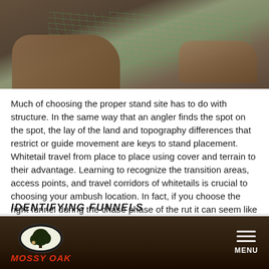[Figure (photo): Overhead view of two people's hands over a topographic map on a wooden table, one hand pointing at the map]
Much of choosing the proper stand site has to do with structure. In the same way that an angler finds the spot on the spot, the lay of the land and topography differences that restrict or guide movement are keys to stand placement. Whitetail travel from place to place using cover and terrain to their advantage. Learning to recognize the transition areas, access points, and travel corridors of whitetails is crucial to choosing your ambush location. In fact, if you choose the right funnel during the chase phase of the rut it can seem like “God just pulled the drain-plug on a sink full of deer.”
IDENTIFYING FUNNELS
MOSSY OAK   MENU